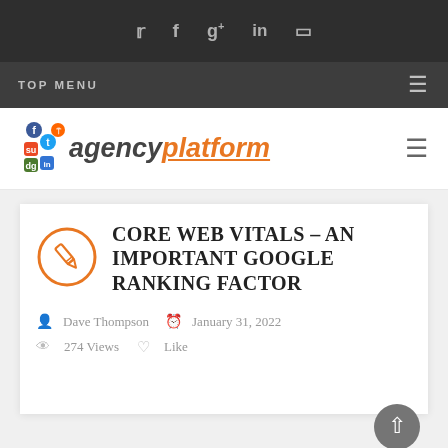Social icons bar: Twitter, Facebook, Google+, LinkedIn, Instagram
TOP MENU
[Figure (logo): Agency Platform logo with social media icons]
CORE WEB VITALS – AN IMPORTANT GOOGLE RANKING FACTOR
Dave Thompson   January 31, 2022
274 Views   Like
[Figure (illustration): Teal/green background illustration strip at bottom of page]